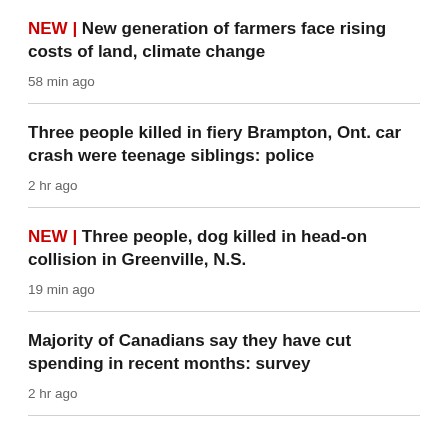NEW | New generation of farmers face rising costs of land, climate change
58 min ago
Three people killed in fiery Brampton, Ont. car crash were teenage siblings: police
2 hr ago
NEW | Three people, dog killed in head-on collision in Greenville, N.S.
19 min ago
Majority of Canadians say they have cut spending in recent months: survey
2 hr ago